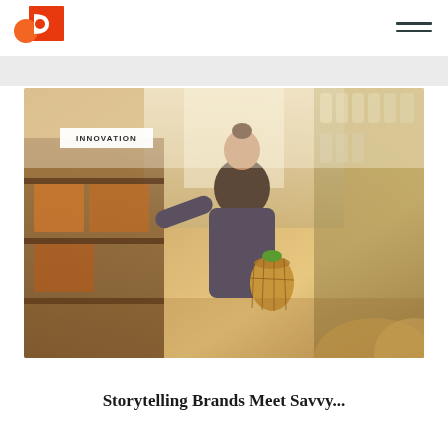[Figure (photo): A woman in a denim jacket with her hair up in a bun, carrying a wicker basket, browsing shelves of goods in a bulk/organic store. Warm, golden-toned lighting. Shelves with glass jars visible on the right side.]
INNOVATION
Storytelling Brands Meet Savvy...